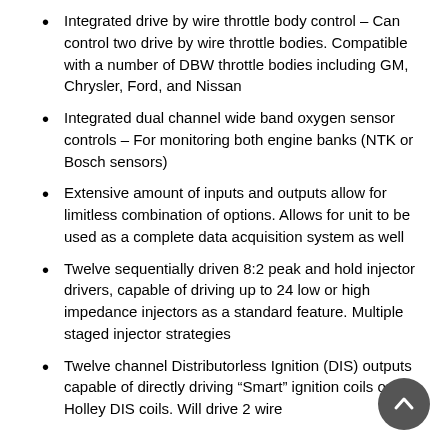Integrated drive by wire throttle body control – Can control two drive by wire throttle bodies. Compatible with a number of DBW throttle bodies including GM, Chrysler, Ford, and Nissan
Integrated dual channel wide band oxygen sensor controls – For monitoring both engine banks (NTK or Bosch sensors)
Extensive amount of inputs and outputs allow for limitless combination of options. Allows for unit to be used as a complete data acquisition system as well
Twelve sequentially driven 8:2 peak and hold injector drivers, capable of driving up to 24 low or high impedance injectors as a standard feature. Multiple staged injector strategies
Twelve channel Distributorless Ignition (DIS) outputs capable of directly driving “Smart” ignition coils or Holley DIS coils. Will drive 2 wire